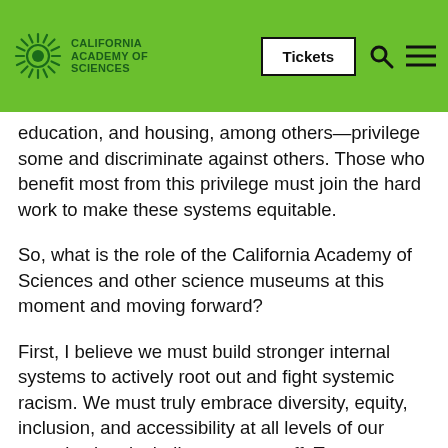[Figure (logo): California Academy of Sciences logo with sun/flower icon and green navigation bar with Tickets button, search icon, and menu icon]
education, and housing, among others—privilege some and discriminate against others. Those who benefit most from this privilege must join the hard work to make these systems equitable.
So, what is the role of the California Academy of Sciences and other science museums at this moment and moving forward?
First, I believe we must build stronger internal systems to actively root out and fight systemic racism. We must truly embrace diversity, equity, inclusion, and accessibility at all levels of our organization, including among staff, Trustees, Fellows, and volunteers. Currently, our staff, including leadership, does not include enough